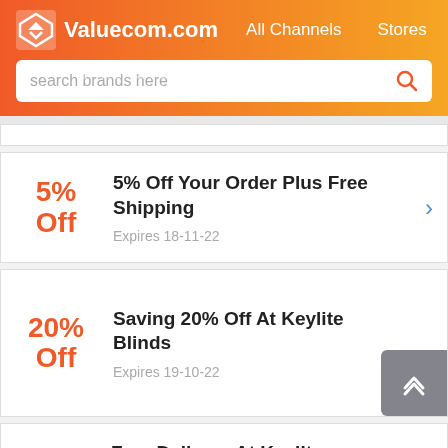Valuecom.com  All Channels  Stores
[Figure (screenshot): Search bar with placeholder text 'search brands here' and a red search icon]
For Shipping – Keylite (watermark)
5% Off – 5% Off Your Order Plus Free Shipping – Expires 18-11-22
20% Off – Saving 20% Off At Keylite Blinds – Expires 19-10-22
Free Delivery At Keylite (partial)